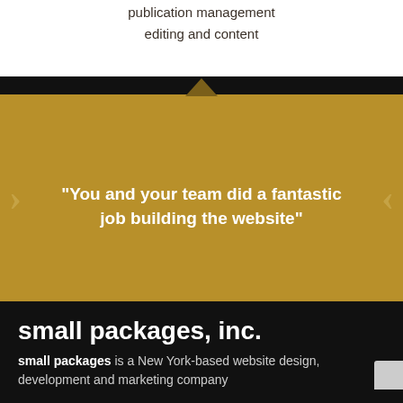publication management
editing and content
"You and your team did a fantastic job building the website"
small packages, inc.
small packages is a New York-based website design, development and marketing company